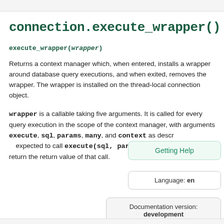connection.execute_wrapper()
execute_wrapper(wrapper)
Returns a context manager which, when entered, installs a wrapper around database query executions, and when exited, removes the wrapper. The wrapper is installed on the thread-local connection object.
wrapper is a callable taking five arguments. It is called for every query execution in the scope of the context manager, with arguments execute, sql, params, many, and context as described above. It is expected to call execute(sql, params, many, context) and return the return value of that call.
Getting Help
Language: en
Documentation version: development